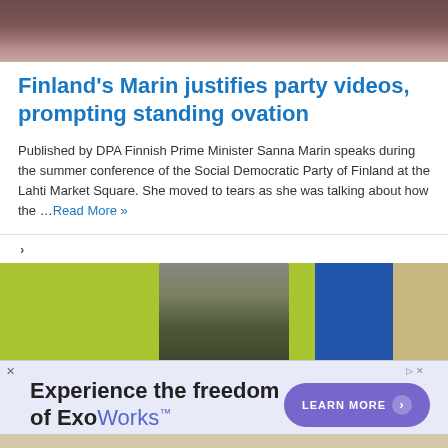[Figure (photo): Top portion of a photo showing a person in dark clothing with hands raised, partial view]
Finland's Marin justifies party videos, prompting standing ovation
Published by DPA Finnish Prime Minister Sanna Marin speaks during the summer conference of the Social Democratic Party of Finland at the Lahti Market Square. She moved to tears as she was talking about how the …Read More »
[Figure (photo): Photo of a man with beard in dark green shirt against a yellow-green background with blue flag visible]
[Figure (infographic): Advertisement banner: Experience the freedom of ExoWorks™ with Learn More button]